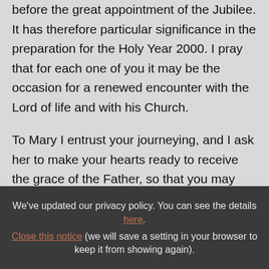before the great appointment of the Jubilee. It has therefore particular significance in the preparation for the Holy Year 2000. I pray that for each one of you it may be the occasion for a renewed encounter with the Lord of life and with his Church.
To Mary I entrust your journeying, and I ask her to make your hearts ready to receive the grace of the Father, so that you may become witnesses to his love.
We've updated our privacy policy. You can see the details here. Close this notice (we will save a setting in your browser to keep it from showing again).